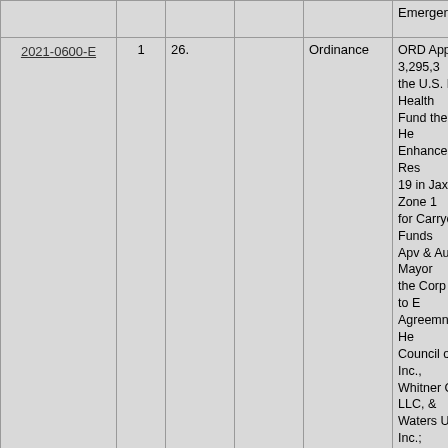|  |  |  |  |  | Emergency/Amend/Ap... |
| --- | --- | --- | --- | --- | --- |
| 2021-0600-E | 1 | 26. |  | Ordinance | ORD Approp $ 3,295,3... the U.S. Dept of Health... Fund the Advancing He... Enhance Equitable Res... 19 in Jax Health Zone 1... for Carryover of Funds... Apv & Auth the Mayor... the Corp Secretary to E... Agreemnts with (1) He... Council of NE FL Inc.,... Whitner Group, LLC, &... Waters University, Inc.;... Exception of Sec 126.1... (General Regulations, C... (Procurement Code), O... Contract with Health Pl... NE FL, Inc., The 8th &... LLC, & Edward Waters... for the Provision for Ov... Office of Grant & Cont... Req 1 Cycle Emergency... 109) (Staffopoulos) (In... Newby at Req of Mayo... Introduced: NCSPHS, I... NCSPHS Emergency/A... F Emergency/Approve... Emergency/Approve 2... |